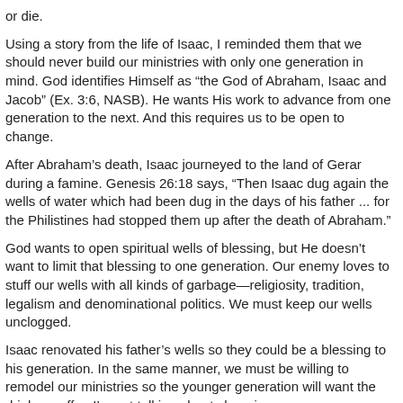or die.
Using a story from the life of Isaac, I reminded them that we should never build our ministries with only one generation in mind. God identifies Himself as “the God of Abraham, Isaac and Jacob” (Ex. 3:6, NASB). He wants His work to advance from one generation to the next. And this requires us to be open to change.
After Abraham’s death, Isaac journeyed to the land of Gerar during a famine. Genesis 26:18 says, “Then Isaac dug again the wells of water which had been dug in the days of his father ... for the Philistines had stopped them up after the death of Abraham.”
God wants to open spiritual wells of blessing, but He doesn’t want to limit that blessing to one generation. Our enemy loves to stuff our wells with all kinds of garbage—religiosity, tradition, legalism and denominational politics. We must keep our wells unclogged.
Isaac renovated his father’s wells so they could be a blessing to his generation. In the same manner, we must be willing to remodel our ministries so the younger generation will want the drink we offer. I’m not talking about changing our core message or compromising on the altar of cultural fads. But we won’t effectively reach the Isaac generation with a stale, outdated presentation.